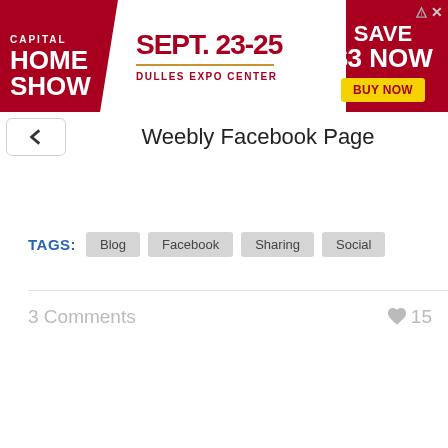[Figure (other): Advertisement banner for Capital Home Show, Sept. 23-25 at Dulles Expo Center. Save $3 Now. Buy Now button. Dark red/crimson background with white and yellow text.]
Weebly Facebook Page
TAGS: Blog Facebook Sharing Social
3 Comments
15